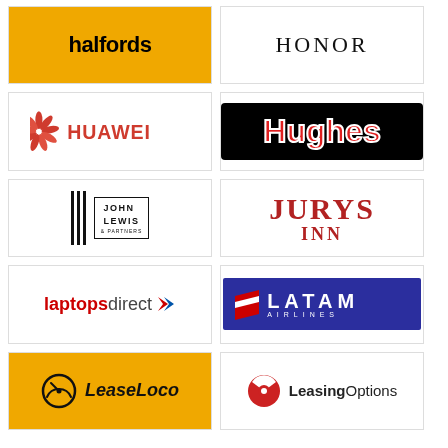[Figure (logo): Halfords logo — white text on orange/gold background]
[Figure (logo): Honor logo — black serif text on white background]
[Figure (logo): Huawei logo — red flower icon with HUAWEI text]
[Figure (logo): Hughes logo — red bold text with white stroke on black background]
[Figure (logo): John Lewis & Partners logo — three vertical bars and boxed text]
[Figure (logo): Jurys Inn logo — red serif text on white background]
[Figure (logo): laptopsdirect logo — red and gray text with arrow chevron]
[Figure (logo): LATAM Airlines logo — white text on dark blue background with flag icon]
[Figure (logo): LeaseLoco logo — italic text with speedometer icon on gold background]
[Figure (logo): LeasingOptions logo — red circular icon with black and gray text]